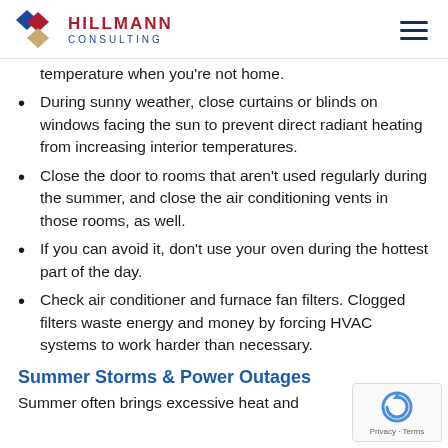Hillmann Consulting
temperature when you're not home.
During sunny weather, close curtains or blinds on windows facing the sun to prevent direct radiant heating from increasing interior temperatures.
Close the door to rooms that aren't used regularly during the summer, and close the air conditioning vents in those rooms, as well.
If you can avoid it, don't use your oven during the hottest part of the day.
Check air conditioner and furnace fan filters. Clogged filters waste energy and money by forcing HVAC systems to work harder than necessary.
Summer Storms & Power Outages
Summer often brings excessive heat and